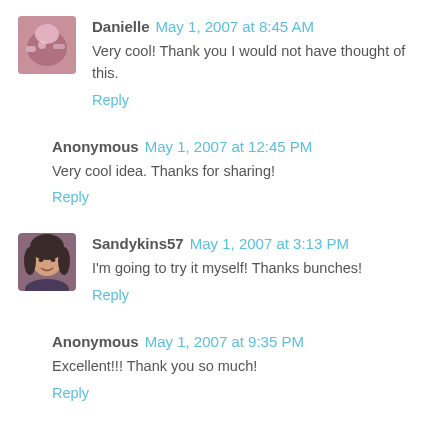[Figure (photo): Avatar photo of Danielle showing pink/colorful image]
Danielle May 1, 2007 at 8:45 AM
Very cool! Thank you I would not have thought of this.
Reply
Anonymous May 1, 2007 at 12:45 PM
Very cool idea. Thanks for sharing!
Reply
[Figure (photo): Avatar photo of Sandykins57 showing woman with dark hair]
Sandykins57 May 1, 2007 at 3:13 PM
I'm going to try it myself! Thanks bunches!
Reply
Anonymous May 1, 2007 at 9:35 PM
Excellent!!! Thank you so much!
Reply